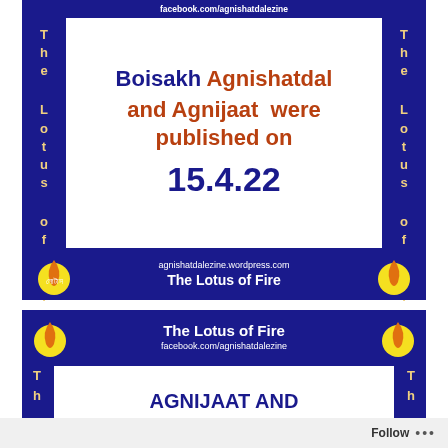[Figure (infographic): Blue banner with Facebook URL 'facebook.com/agnishatdalezine', vertical side text 'The Lotus of Fire' on both sides, white center box with text 'Boisakh Agnishatdal and Agnijaat were published on 15.4.22', bottom section with 'agnishatdalezine.wordpress.com' and 'The Lotus of Fire', flame logo icons on sides]
[Figure (infographic): Second blue banner with 'The Lotus of Fire facebook.com/agnishatdalezine' at top, flame logos, vertical side text 'T h' visible, white box with 'AGNIJAAT AND' text, partially cut off]